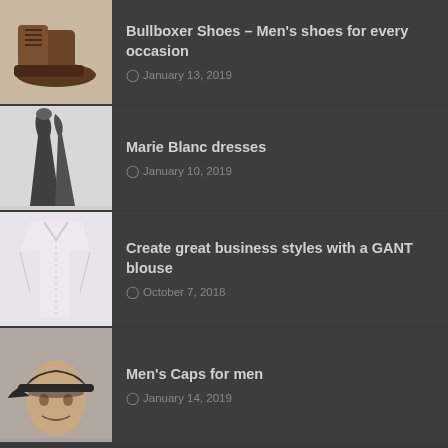Bullboxer Shoes – Men's shoes for every occasion
January 13, 2019
Marie Blanc dresses
January 10, 2019
Create great business styles with a GANT blouse
October 7, 2018
Men's Caps for men
January 14, 2019
© Copyright 2022, All Rights Reserved